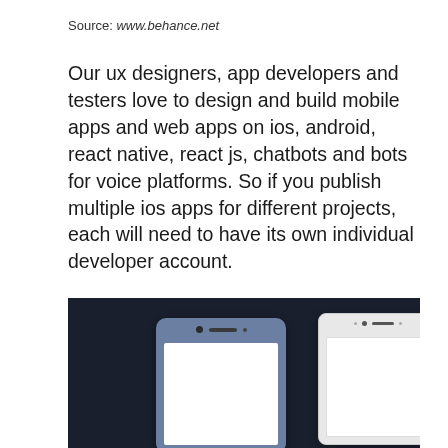Source: www.behance.net
Our ux designers, app developers and testers love to design and build mobile apps and web apps on ios, android, react native, react js, chatbots and bots for voice platforms. So if you publish multiple ios apps for different projects, each will need to have its own individual developer account.
[Figure (photo): Two Sony smartphone mockups displayed on a dark navy background. Left phone has a blue-gray body with a white screen. Right phone has a light/white body with a white screen. Both phones show front-facing camera dots and speaker grilles.]